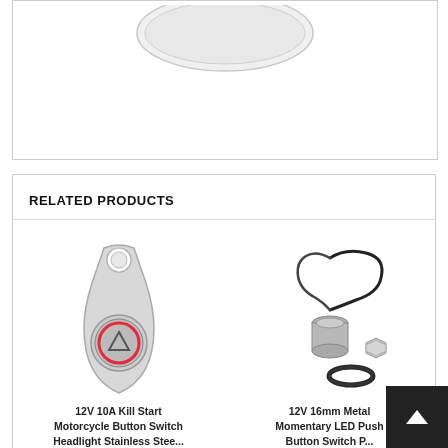[Figure (photo): Partial product image at top showing an oval/elongated white product component viewed from above]
RELATED PRODUCTS
[Figure (photo): 12V 10A Kill Start Motorcycle Button Switch with stainless steel keychain-style bracket, showing a metal switch with red LED ring and triangle symbol]
12V 10A Kill Start Motorcycle Button Switch Headlight Stainless Steel...
[Figure (photo): 12V 16mm Metal Momentary LED Push Button Switch components: cylindrical metal button with wires, hex nut, and O-ring]
12V 16mm Metal Momentary LED Push Button Switch P...